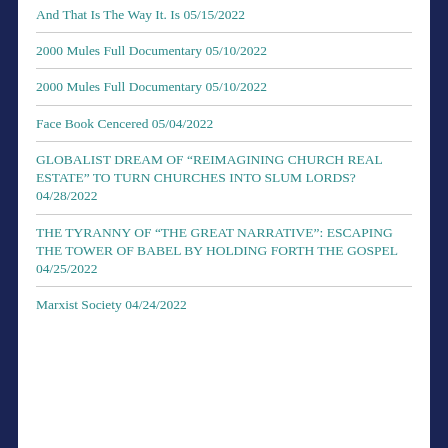And That Is The Way It. Is 05/15/2022
2000 Mules Full Documentary 05/10/2022
2000 Mules Full Documentary 05/10/2022
Face Book Cencered 05/04/2022
GLOBALIST DREAM OF “REIMAGINING CHURCH REAL ESTATE” TO TURN CHURCHES INTO SLUM LORDS? 04/28/2022
THE TYRANNY OF “THE GREAT NARRATIVE”: ESCAPING THE TOWER OF BABEL BY HOLDING FORTH THE GOSPEL 04/25/2022
Marxist Society 04/24/2022